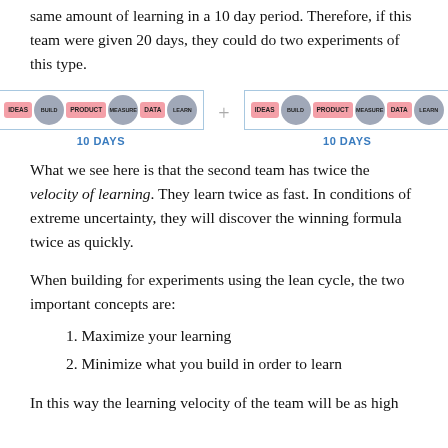same amount of learning in a 10 day period. Therefore, if this team were given 20 days, they could do two experiments of this type.
[Figure (infographic): Two lean cycles side by side, each showing: IDEAS (pink pill), BUILD (gray circle), PRODUCT (pink pill), MEASURE (gray circle), DATA (pink pill), LEARN (gray circle), each labeled '10 DAYS' below in blue.]
What we see here is that the second team has twice the velocity of learning. They learn twice as fast. In conditions of extreme uncertainty, they will discover the winning formula twice as quickly.
When building for experiments using the lean cycle, the two important concepts are:
1. Maximize your learning
2. Minimize what you build in order to learn
In this way the learning velocity of the team will be as high